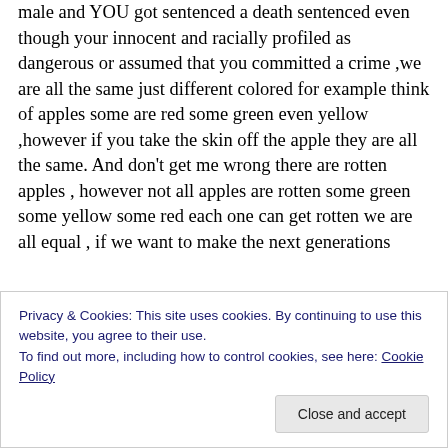male and YOU got sentenced a death sentenced even though your innocent and racially profiled as dangerous or assumed that you committed a crime ,we are all the same just different colored for example think of apples some are red some green even yellow ,however if you take the skin off the apple they are all the same. And don't get me wrong there are rotten apples , however not all apples are rotten some green some yellow some red each one can get rotten we are all equal , if we want to make the next generations
Privacy & Cookies: This site uses cookies. By continuing to use this website, you agree to their use.
To find out more, including how to control cookies, see here: Cookie Policy